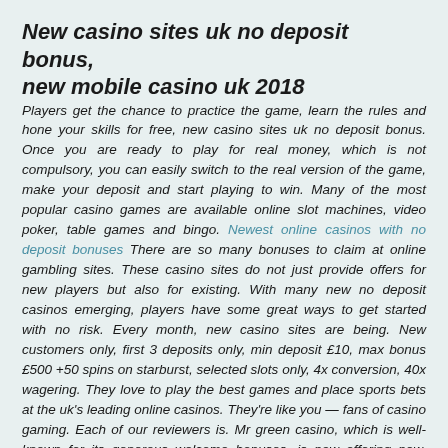New casino sites uk no deposit bonus, new mobile casino uk 2018
Players get the chance to practice the game, learn the rules and hone your skills for free, new casino sites uk no deposit bonus. Once you are ready to play for real money, which is not compulsory, you can easily switch to the real version of the game, make your deposit and start playing to win. Many of the most popular casino games are available online slot machines, video poker, table games and bingo. Newest online casinos with no deposit bonuses There are so many bonuses to claim at online gambling sites. These casino sites do not just provide offers for new players but also for existing. With many new no deposit casinos emerging, players have some great ways to get started with no risk. Every month, new casino sites are being. New customers only, first 3 deposits only, min deposit £10, max bonus £500 +50 spins on starburst, selected slots only, 4x conversion, 40x wagering. They love to play the best games and place sports bets at the uk's leading online casinos. They're like you — fans of casino gaming. Each of our reviewers is. Mr green casino, which is well-known for its generous welcome bonuses, is now offering new. Latest no deposit bonus